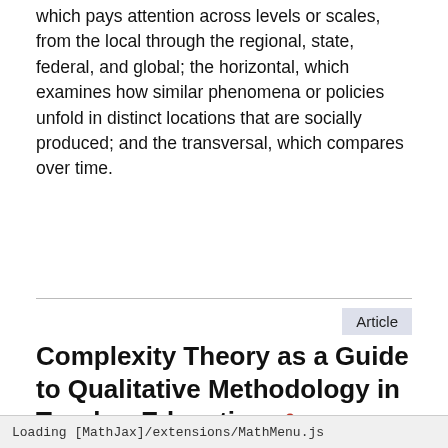which pays attention across levels or scales, from the local through the regional, state, federal, and global; the horizontal, which examines how similar phenomena or policies unfold in distinct locations that are socially produced; and the transversal, which compares over time.
Article
Complexity Theory as a Guide to Qualitative Methodology in Teacher Education
Fiona Ell, Marilyn Cochran-Smith, Mary Hill, Mavis Haigh, Lexie Grudnoff, and Larry Ludlow
We use cookies to enhance your experience on our website. By clicking 'continue' or by continuing to use our website, you are agreeing to our use of cookies. You can change your cookie settings at any time.
Loading [MathJax]/extensions/MathMenu.js